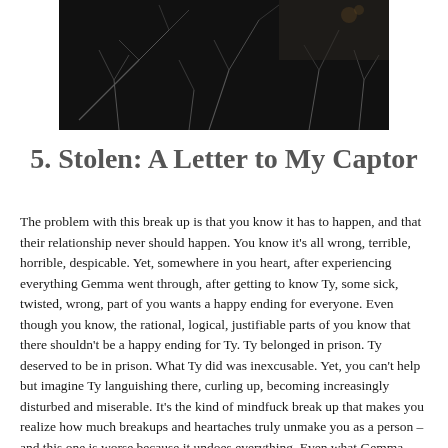[Figure (photo): Dark moody photograph with dark background showing dried twigs or plant stems against a near-black surface, occupying the top portion of the page.]
5. Stolen: A Letter to My Captor
The problem with this break up is that you know it has to happen, and that their relationship never should happen.  You know it's all wrong, terrible, horrible, despicable.  Yet, somewhere in you heart, after experiencing everything Gemma went through, after getting to know Ty, some sick, twisted, wrong, part of you wants a happy ending for everyone.  Even though you know, the rational, logical, justifiable parts of you know that there shouldn't be a happy ending for Ty.  Ty belonged in prison.  Ty deserved to be in prison.  What Ty did was inexcusable.  Yet, you can't help but imagine Ty languishing there, curling up, becoming increasingly disturbed and miserable.  It's the kind of mindfuck break up that makes you realize how much breakups and heartaches truly unmake you as a person – and this one is worse because it undoes everything.  Even what Gemma should know first and foremost.  The most obvious thing in the world.  Kidnappers belong in jail, not in your heart.  But she didn't want to send Ty there – and yet she did.   The strength, the weakness, the vulnerability, the guardedness of the passages is brilliant.